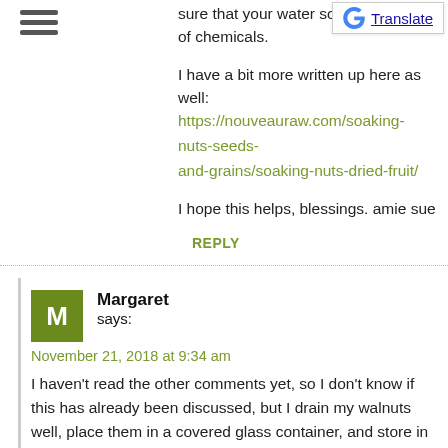[Figure (other): Hamburger menu icon (three horizontal lines)]
[Figure (other): Google Translate button with Google G logo]
sure that your water source is clean of chemicals.
I have a bit more written up here as well: https://nouveauraw.com/soaking-nuts-seeds-and-grains/soaking-nuts-dried-fruit/
I hope this helps, blessings. amie sue
REPLY
Margaret says:
November 21, 2018 at 9:34 am
I haven't read the other comments yet, so I don't know if this has already been discussed, but I drain my walnuts well, place them in a covered glass container, and store in the fridge. I find they dry naturally (I don't have a dehydrator).